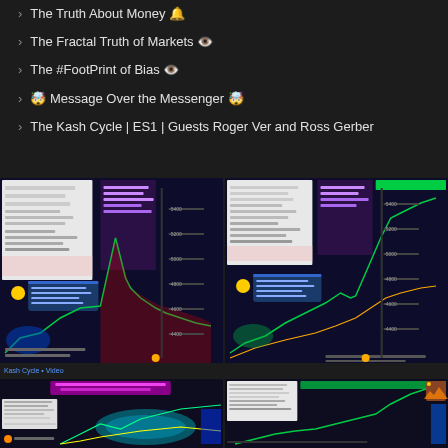The Truth About Money 🔔
The Fractal Truth of Markets 👁️
The #FootPrint of Bias 👁️
🤯 Message Over the Messenger 🤯
The Kash Cycle | ES1 | Guests Roger Ver and Ross Gerber
[Figure (screenshot): Two trading chart screenshots side by side showing market data with green and red price action lines on dark backgrounds]
[Figure (screenshot): Two more trading chart screenshots showing market data with colorful overlays and indicators on dark backgrounds]